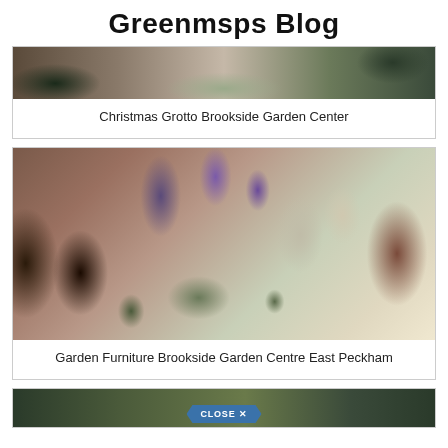Greenmsps Blog
[Figure (photo): Partial photo of Christmas Grotto at Brookside Garden Center showing plants and decorations]
Christmas Grotto Brookside Garden Center
[Figure (photo): Photo of garden furniture display at Brookside Garden Centre East Peckham, showing wrought iron chairs, ornate white bistro chairs, lanterns, purple flowering plants, and large terracotta pots]
Garden Furniture Brookside Garden Centre East Peckham
[Figure (photo): Partial photo at bottom of page with a Close button overlay]